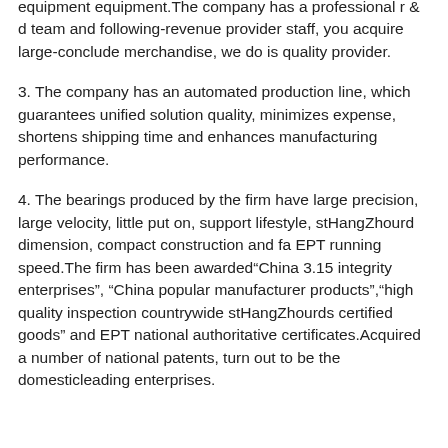equipment equipment.The company has a professional r & d team and following-revenue provider staff, you acquire large-conclude merchandise, we do is quality provider.
3. The company has an automated production line, which guarantees unified solution quality, minimizes expense, shortens shipping time and enhances manufacturing performance.
4. The bearings produced by the firm have large precision, large velocity, little put on, support lifestyle, stHangZhourd dimension, compact construction and fa EPT running speed.The firm has been awarded“China 3.15 integrity enterprises”, “China popular manufacturer products”,“high quality inspection countrywide stHangZhourds certified goods” and EPT national authoritative certificates.Acquired a number of national patents, turn out to be the domesticleading enterprises.